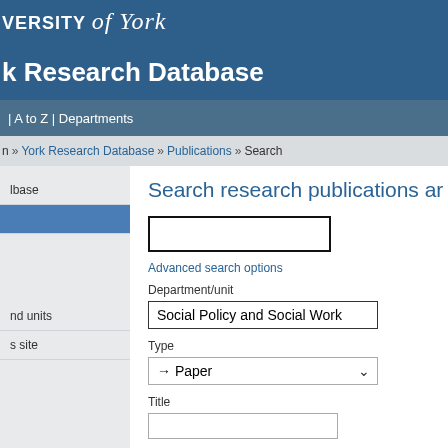UNIVERSITY of York
York Research Database
| A to Z | Departments
» York Research Database » Publications » Search
lbase
[sidebar item]
[sidebar active]
nd units
s site
Search research publications ar
Advanced search options
Department/unit
Social Policy and Social Work
Type
→ Paper
Title
Author
Publication year